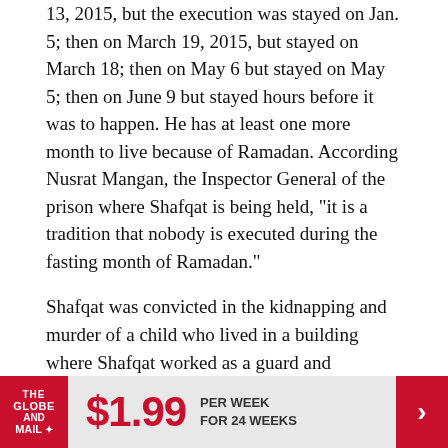13, 2015, but the execution was stayed on Jan. 5; then on March 19, 2015, but stayed on March 18; then on May 6 but stayed on May 5; then on June 9 but stayed hours before it was to happen. He has at least one more month to live because of Ramadan. According Nusrat Mangan, the Inspector General of the prison where Shafqat is being held, "it is a tradition that nobody is executed during the fasting month of Ramadan."
Shafqat was convicted in the kidnapping and murder of a child who lived in a building where Shafqat worked as a guard and caretaker. He was developmentally disabled. He was brutally tortured to confess. The torture involved beatings,
[Figure (other): Advertisement banner for The Globe and Mail: $1.99 per week for 24 weeks, with red logo on left and red arrow on right.]